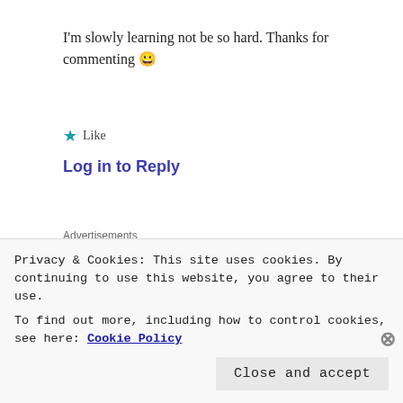I'm slowly learning not be so hard. Thanks for commenting 😀
★ Like
Log in to Reply
Advertisements
The Platform Where WordPress Works Best  🖥 Pressable
[Figure (photo): Partial avatar photo of a person]
IreneDesign2011
Privacy & Cookies: This site uses cookies. By continuing to use this website, you agree to their use.
To find out more, including how to control cookies, see here: Cookie Policy
Close and accept